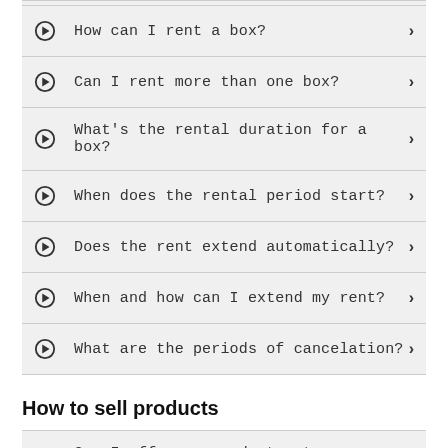How can I rent a box?
Can I rent more than one box?
What's the rental duration for a box?
When does the rental period start?
Does the rent extend automatically?
When and how can I extend my rent?
What are the periods of cancelation?
How to sell products
Can I offer my products at several shops at the same time?